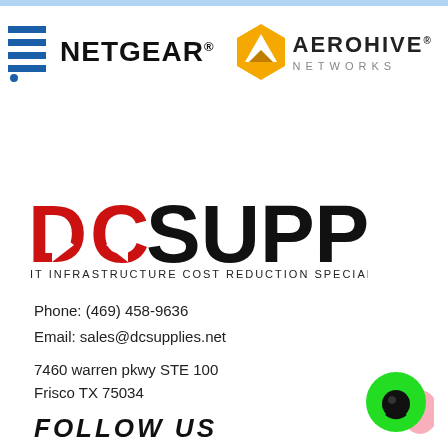[Figure (logo): Top blue decorative bar]
[Figure (logo): NETGEAR logo in black bold text with registered trademark, and Aerohive Networks logo with golden hexagonal icon and dark text]
[Figure (logo): DC Supplies logo with red arrow chevron mark and black text, subtitle: IT INFRASTRUCTURE COST REDUCTION SPECIALISTS]
Phone: (469) 458-9636
Email: sales@dcsupplies.net
7460 warren pkwy STE 100
Frisco TX 75034
[Figure (illustration): Green circle chat bubble icon with dark eye, and pink hand shape, bottom right corner]
FOLLOW US